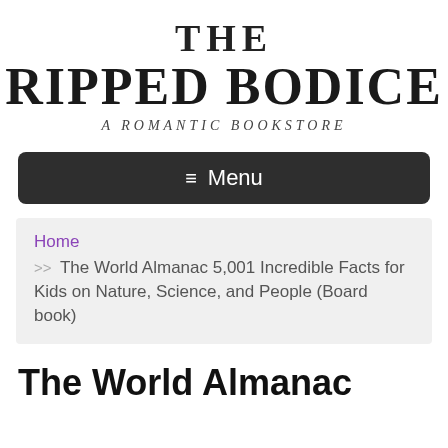The Ripped Bodice — A Romantic Bookstore
≡ Menu
Home >> The World Almanac 5,001 Incredible Facts for Kids on Nature, Science, and People (Board book)
The World Almanac